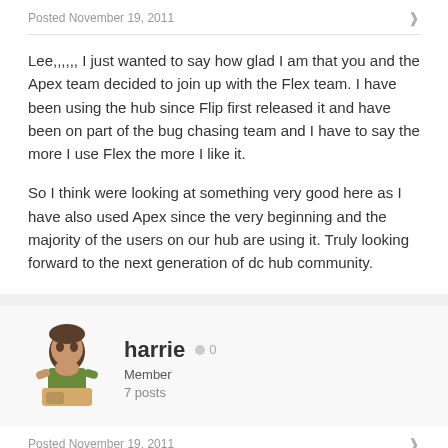Posted November 19, 2011
Lee,,,,,, I just wanted to say how glad I am that you and the Apex team decided to join up with the Flex team. I have been using the hub since Flip first released it and have been on part of the bug chasing team and I have to say the more I use Flex the more I like it.
So I think were looking at something very good here as I have also used Apex since the very beginning and the majority of the users on our hub are using it. Truly looking forward to the next generation of dc hub community.
harrie
Member
7 posts
Posted November 19, 2011